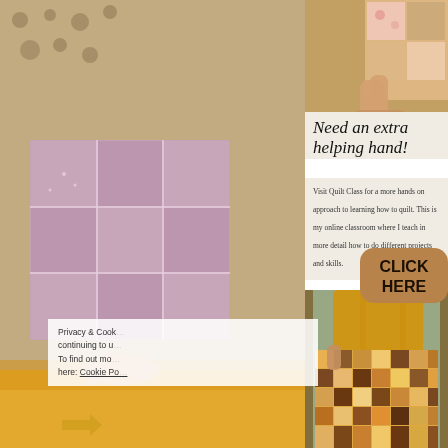[Figure (photo): Left panel showing a purple/lavender patchwork quilt square being held, with golden yellow fabric and lace/crochet background texture]
[Figure (photo): Top right photo showing hands holding colorful patchwork quilt squares with floral and neutral fabrics]
Need an extra helping hand!
Visit Quilt Class for a more hands on approach to learning how to quilt. This is my online classroom where I teach in more detail how to do different projects and skills.
[Figure (other): Brown rounded rectangle button with bold text CLICK HERE]
[Figure (photo): Bottom right photo showing woman in mustard yellow dress holding large patchwork quilt with orange/brown/cream checkered pattern on a porch]
Privacy & Cook… continuing to u… To find out mo… here: Cookie Po…